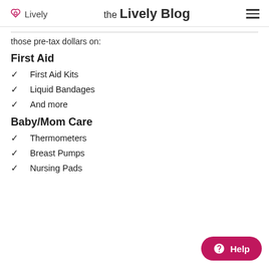Lively | the Lively Blog
those pre-tax dollars on:
First Aid
First Aid Kits
Liquid Bandages
And more
Baby/Mom Care
Thermometers
Breast Pumps
Nursing Pads